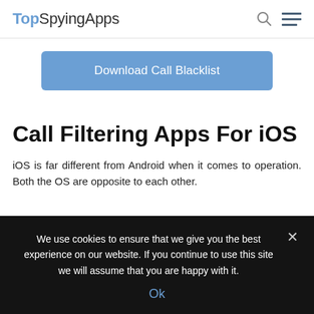TopSpyingApps
[Figure (other): Download Call Blacklist button - blue rounded rectangle button]
Call Filtering Apps For iOS
iOS is far different from Android when it comes to operation. Both the OS are opposite to each other.
We use cookies to ensure that we give you the best experience on our website. If you continue to use this site we will assume that you are happy with it. Ok